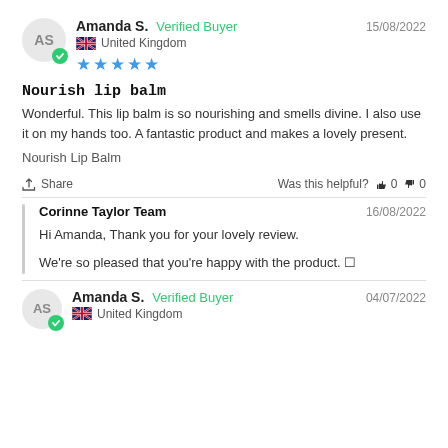Amanda S.  Verified Buyer   15/08/2022   United Kingdom   ★★★★★
Nourish lip balm
Wonderful. This lip balm is so nourishing and smells divine. I also use it on my hands too. A fantastic product and makes a lovely present.
Nourish Lip Balm
Share   Was this helpful?  👍 0  👎 0
Corinne Taylor Team   16/08/2022
Hi Amanda, Thank you for your lovely review.

We're so pleased that you're happy with the product. 🙂
Amanda S.  Verified Buyer   04/07/2022   United Kingdom